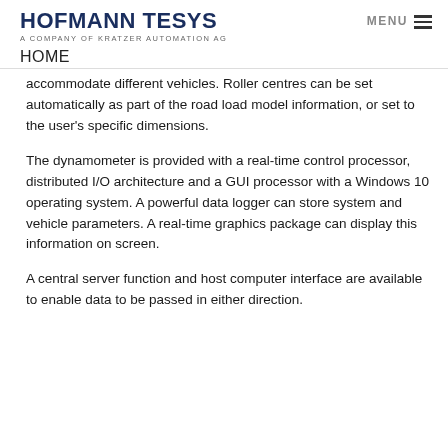HOFMANN TESYS
A company of KRATZER AUTOMATION AG
HOME
accommodate different vehicles. Roller centres can be set automatically as part of the road load model information, or set to the user's specific dimensions.
The dynamometer is provided with a real-time control processor, distributed I/O architecture and a GUI processor with a Windows 10 operating system. A powerful data logger can store system and vehicle parameters. A real-time graphics package can display this information on screen.
A central server function and host computer interface are available to enable data to be passed in either direction.